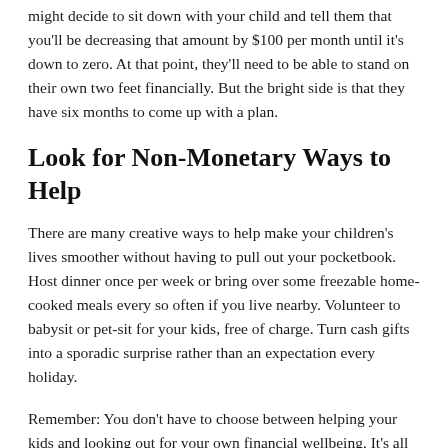might decide to sit down with your child and tell them that you'll be decreasing that amount by $100 per month until it's down to zero. At that point, they'll need to be able to stand on their own two feet financially. But the bright side is that they have six months to come up with a plan.
Look for Non-Monetary Ways to Help
There are many creative ways to help make your children's lives smoother without having to pull out your pocketbook. Host dinner once per week or bring over some freezable home-cooked meals every so often if you live nearby. Volunteer to babysit or pet-sit for your kids, free of charge. Turn cash gifts into a sporadic surprise rather than an expectation every holiday.
Remember: You don't have to choose between helping your kids and looking out for your own financial wellbeing. It's all about setting